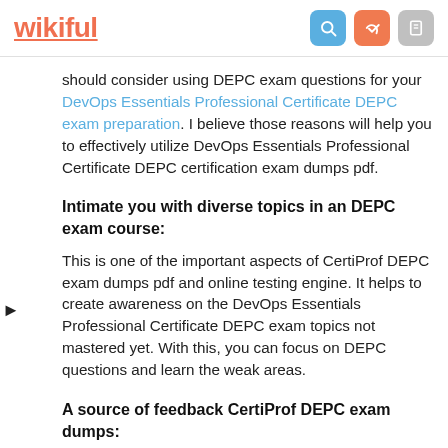wikiful
should consider using DEPC exam questions for your DevOps Essentials Professional Certificate DEPC exam preparation. I believe those reasons will help you to effectively utilize DevOps Essentials Professional Certificate DEPC certification exam dumps pdf.
Intimate you with diverse topics in an DEPC exam course:
This is one of the important aspects of CertiProf DEPC exam dumps pdf and online testing engine. It helps to create awareness on the DevOps Essentials Professional Certificate DEPC exam topics not mastered yet. With this, you can focus on DEPC questions and learn the weak areas.
A source of feedback CertiProf DEPC exam dumps: